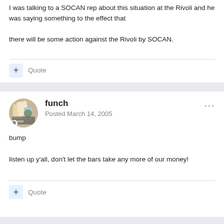I was talking to a SOCAN rep about this situation at the Rivoli and he was saying something to the effect that

there will be some action against the Rivoli by SOCAN.
Quote
funch
Posted March 14, 2005
bump

listen up y'all, don't let the bars take any more of our money!
Quote